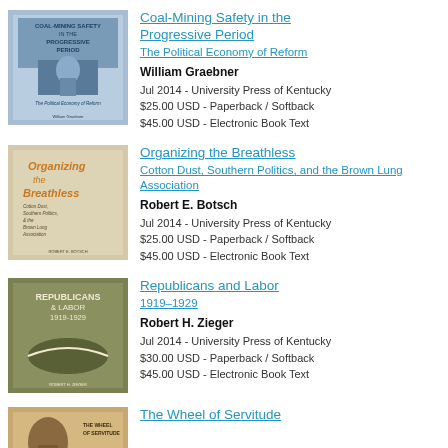[Figure (illustration): Book cover of Coal-Mining Safety in the Progressive Period, blue cover with miner figure]
Coal-Mining Safety in the Progressive Period
The Political Economy of Reform
William Graebner
Jul 2014 - University Press of Kentucky
$25.00 USD - Paperback / Softback
$45.00 USD - Electronic Book Text
[Figure (illustration): Book cover of Organizing the Breathless, beige cover with orange title text]
Organizing the Breathless
Cotton Dust, Southern Politics, and the Brown Lung Association
Robert E. Botsch
Jul 2014 - University Press of Kentucky
$25.00 USD - Paperback / Softback
$45.00 USD - Electronic Book Text
[Figure (illustration): Book cover of Republicans and Labor 1919-1929, olive green cover with abstract design]
Republicans and Labor
1919–1929
Robert H. Zieger
Jul 2014 - University Press of Kentucky
$30.00 USD - Paperback / Softback
$45.00 USD - Electronic Book Text
[Figure (illustration): Book cover of The Wheel of Servitude, tan/sepia cover]
The Wheel of Servitude